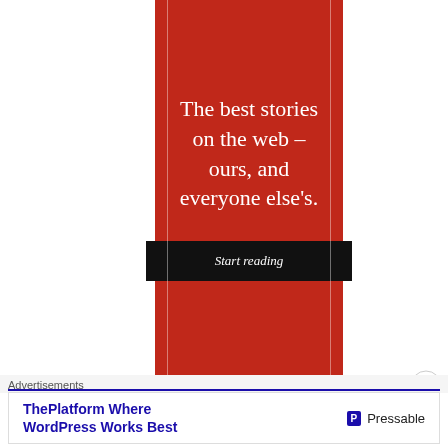[Figure (illustration): Red vertical banner advertisement with white serif text reading 'The best stories on the web – ours, and everyone else's.' and a dark 'Start reading' button. Two thin vertical white lines frame the inner content area.]
Advertisements
[Figure (illustration): Bottom advertisement banner: 'ThePlatform Where WordPress Works Best' in bold blue text on left, Pressable logo with blue 'P' icon on right.]